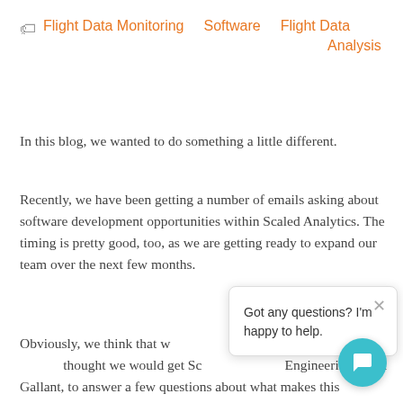Flight Data Monitoring   Software   Flight Data Analysis
In this blog, we wanted to do something a little different.
Recently, we have been getting a number of emails asking about software development opportunities within Scaled Analytics. The timing is pretty good, too, as we are getting ready to expand our team over the next few months.
Obviously, we think that working here is exciting and challenging and thought we would get Scaled Analytics Engineering, Nick Gallant, to answer a few questions about what makes this discipline of Software Development unique and particularly interesting.
[Figure (other): Chat popup widget with text 'Got any questions? I'm happy to help.' and a close (X) button, overlaid on the page content. A teal circular chat button appears in the bottom right.]